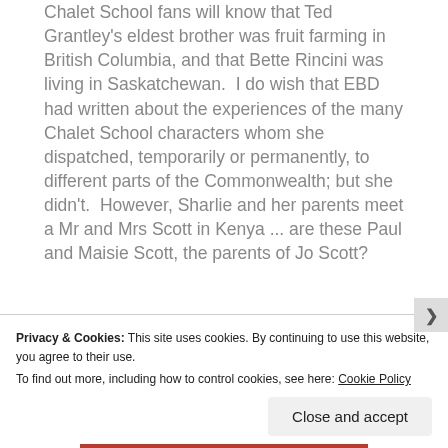Chalet School fans will know that Ted Grantley's eldest brother was fruit farming in British Columbia, and that Bette Rincini was living in Saskatchewan.  I do wish that EBD had written about the experiences of the many Chalet School characters whom she dispatched, temporarily or permanently, to different parts of the Commonwealth; but she didn't.  However, Sharlie and her parents meet a Mr and Mrs Scott in Kenya ... are these Paul and Maisie Scott, the parents of Jo Scott?
Privacy & Cookies: This site uses cookies. By continuing to use this website, you agree to their use.
To find out more, including how to control cookies, see here: Cookie Policy
Close and accept